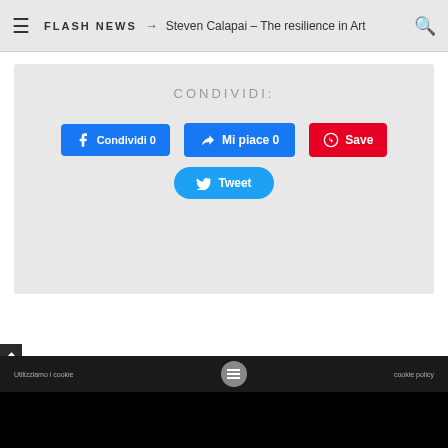FLASH NEWS → Steven Calapai – The resilience in Art
CONDIVIDI:
Condividi 0
Mi piace 0
Save
Tweet
Utilizziamo i cookie | Privacy